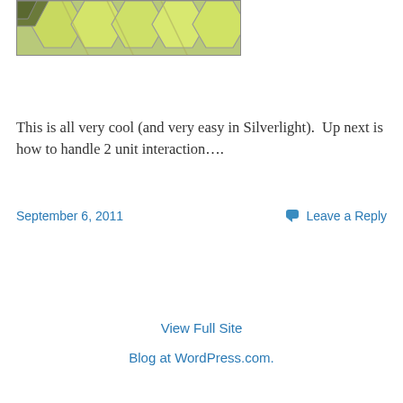[Figure (illustration): Partial view of hexagonal grid map tiles with yellow-green coloring and grey lines, cut off at top]
This is all very cool (and very easy in Silverlight).  Up next is how to handle 2 unit interaction….
September 6, 2011
Leave a Reply
View Full Site
Blog at WordPress.com.